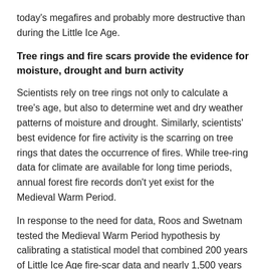today's megafires and probably more destructive than during the Little Ice Age.
Tree rings and fire scars provide the evidence for moisture, drought and burn activity
Scientists rely on tree rings not only to calculate a tree's age, but also to determine wet and dry weather patterns of moisture and drought. Similarly, scientists' best evidence for fire activity is the scarring on tree rings that dates the occurrence of fires. While tree-ring data for climate are available for long time periods, annual forest fire records don't yet exist for the Medieval Warm Period.
In response to the need for data, Roos and Swetnam tested the Medieval Warm Period hypothesis by calibrating a statistical model that combined 200 years of Little Ice Age fire-scar data and nearly 1,500 years of climate data derived from existing tree rings. With that they were able to predict what the annual fire activity would have been almost 1,500 years ago.